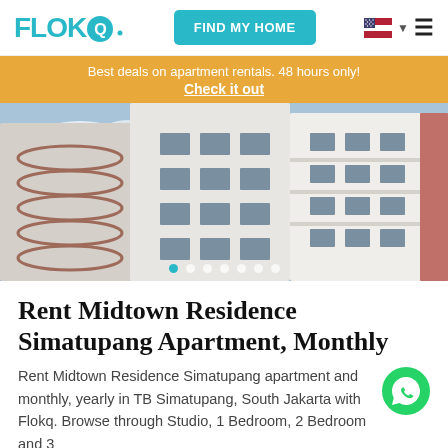FLOKQ | FIND MY HOME
Best deals on apartment rentals. 48 hours only! Check it out
[Figure (photo): Exterior photograph of Midtown Residence Simatupang apartment building, showing tall modern white residential high-rise buildings against a blue sky with clouds. Image slider with 7 dots at bottom, first dot highlighted in teal.]
Rent Midtown Residence Simatupang Apartment, Monthly
Rent Midtown Residence Simatupang apartment and monthly, yearly in TB Simatupang, South Jakarta with Flokq. Browse through Studio, 1 Bedroom, 2 Bedroom and 3